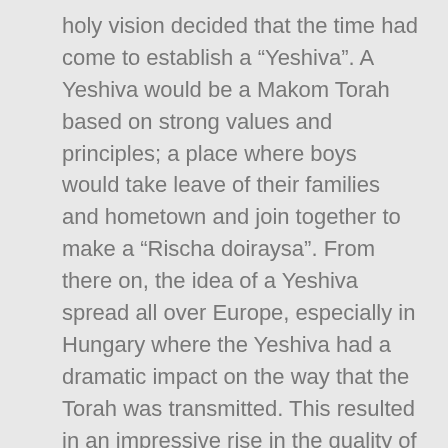holy vision decided that the time had come to establish a “Yeshiva”. A Yeshiva would be a Makom Torah based on strong values and principles; a place where boys would take leave of their families and hometown and join together to make a “Rischa doiraysa”. From there on, the idea of a Yeshiva spread all over Europe, especially in Hungary where the Yeshiva had a dramatic impact on the way that the Torah was transmitted. This resulted in an impressive rise in the quality of Talmidei Chachomim and a quantitative increase of Lomdei Torah, thereby securing the future of Klal Yisrael.